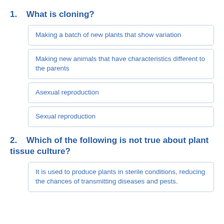1. What is cloning?
Making a batch of new plants that show variation
Making new animals that have characteristics different to the parents
Asexual reproduction
Sexual reproduction
2. Which of the following is not true about plant tissue culture?
It is used to produce plants in sterile conditions, reducing the chances of transmitting diseases and pests.